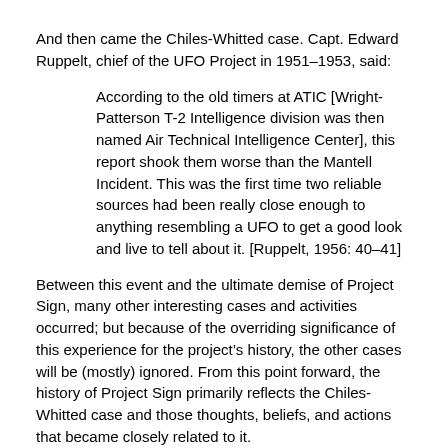And then came the Chiles-Whitted case. Capt. Edward Ruppelt, chief of the UFO Project in 1951–1953, said:
According to the old timers at ATIC [Wright-Patterson T-2 Intelligence division was then named Air Technical Intelligence Center], this report shook them worse than the Mantell Incident. This was the first time two reliable sources had been really close enough to anything resembling a UFO to get a good look and live to tell about it. [Ruppelt, 1956: 40–41]
Between this event and the ultimate demise of Project Sign, many other interesting cases and activities occurred; but because of the overriding significance of this experience for the project's history, the other cases will be (mostly) ignored. From this point forward, the history of Project Sign primarily reflects the Chiles-Whitted case and those thoughts, beliefs, and actions that became closely related to it.
The observation occurred in the early morning hours of July 24, 1948. An Eastern Airlines flight was near Montgomery, Alabama, flying at 5,000 feet and soon to land. The night was mainly clear. Pilot Clarence Chiles and copilot John Whitted were at the controls. Most of the passengers were asleep. Ahead of the plane and slightly above (the pilots estimated about 5,500 feet), a flying object came into view. Chiles said to Whitted: “Look, there comes one of those new jet jobs.” As the device came nearer, they became more amazed. It was shaped like a DC-6, but with neither wings nor tail: a “flying fuselage.” It seemed to be about 100 feet long with a barrel diameter about three times that of a B-29. At an estimated 500 miles per hour it took about